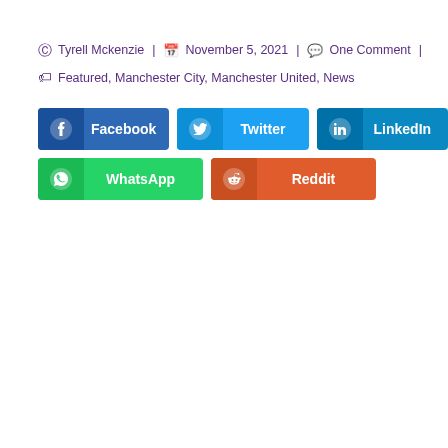Tyrell Mckenzie | November 5, 2021 | One Comment | Featured, Manchester City, Manchester United, News
[Figure (other): Social share buttons: Facebook, Twitter, LinkedIn, WhatsApp, Reddit]